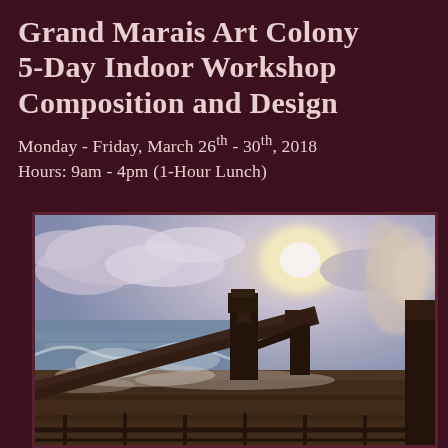Grand Marais Art Colony 5-Day Indoor Workshop Composition and Design
Monday - Friday, March 26th - 30th, 2018
Hours: 9am - 4pm (1-Hour Lunch)
[Figure (photo): A painting or photo showing an industrial waterfront scene with machinery, steam/smoke, waves crashing, and a bright sky with clouds. Warm and cool tones, impressionistic style.]